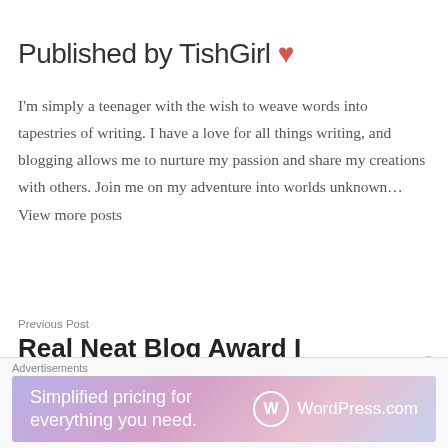Published by TishGirl ❤
I'm simply a teenager with the wish to weave words into tapestries of writing. I have a love for all things writing, and blogging allows me to nurture my passion and share my creations with others. Join me on my adventure into worlds unknown... View more posts
Previous Post
Real Neat Blog Award I
Advertisements
[Figure (screenshot): WordPress.com advertisement banner: 'Simplified pricing for everything you need.' with WordPress.com logo]